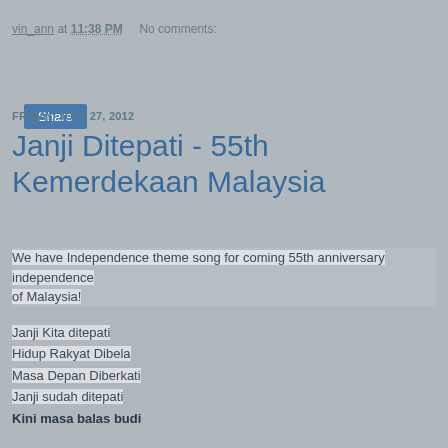vin_ann at 11:38 PM    No comments:
Share
FRIDAY, JULY 27, 2012
Janji Ditepati - 55th Kemerdekaan Malaysia
We have Independence theme song for coming 55th anniversary independence of Malaysia!
Janji Kita ditepati
Hidup Rakyat Dibela
Masa Depan Diberkati
Janji sudah ditepati
Kini masa balas budi